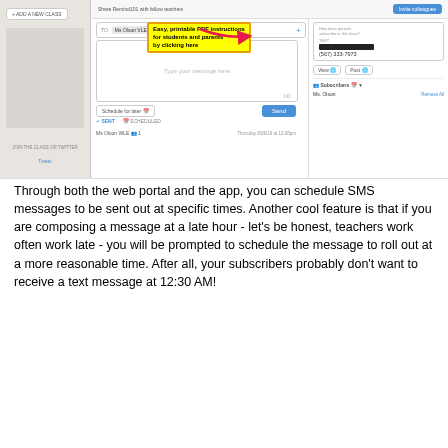[Figure (screenshot): Screenshot of Remind web interface showing messaging compose area with annotation 'Easy, printable PDF instructions for students and parents by clicking here' in yellow, pink arrow pointing to invite colleagues button, and subscriber panel showing Ms. Olson contact.]
Through both the web portal and the app, you can schedule SMS messages to be sent out at specific times.  Another cool feature is that if you are composing a message at a late hour - let's be honest, teachers work often work late - you will be prompted to schedule the message to roll out at a more reasonable time.  After all, your subscribers probably don't want to receive a text message at 12:30 AM!
[Figure (screenshot): Screenshot of Remind messaging interface showing TO field with 'Ms Olson WLE' chip and yellow annotation 'You can schedule texts for now or for later!' with pink arrow and message compose box showing placeholder text 'Type your message here'.]